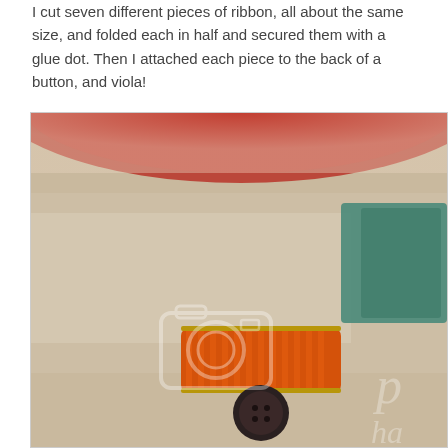I cut seven different pieces of ribbon, all about the same size, and folded each in half and secured them with a glue dot. Then I attached each piece to the back of a button, and viola!
[Figure (photo): Close-up photograph of craft supplies including an orange striped button/ribbon piece, teal fabric, and a dark button on a beige surface, with a red curved element at the top. A watermark camera icon and partial text 'ph' and 'ha' are visible.]